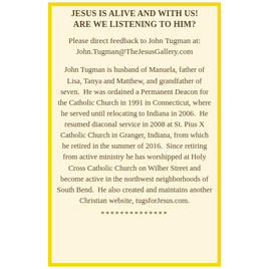JESUS IS ALIVE AND WITH US! ARE WE LISTENING TO HIM?
Please direct feedback to John Tugman at: John.Tugman@TheJesusGallery.com
John Tugman is husband of Manuela, father of Lisa, Tanya and Matthew, and grandfather of seven. He was ordained a Permanent Deacon for the Catholic Church in 1991 in Connecticut, where he served until relocating to Indiana in 2006. He resumed diaconal service in 2008 at St. Pius X Catholic Church in Granger, Indiana, from which he retired in the summer of 2016. Since retiring from active ministry he has worshipped at Holy Cross Catholic Church on Wilber Street and become active in the northwest neighborhoods of South Bend. He also created and maintains another Christian website, tugsforJesus.com.
**************